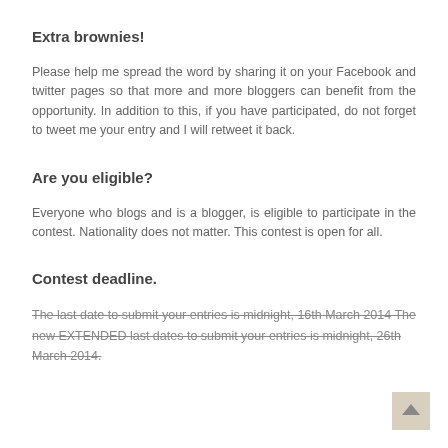Extra brownies!
Please help me spread the word by sharing it on your Facebook and twitter pages so that more and more bloggers can benefit from the opportunity. In addition to this, if you have participated, do not forget to tweet me your entry and I will retweet it back.
Are you eligible?
Everyone who blogs and is a blogger, is eligible to participate in the contest. Nationality does not matter. This contest is open for all.
Contest deadline.
The last date to submit your entries is midnight, 16th March 2014 The new EXTENDED last dates to submit your entries is midnight, 26th March 2014.